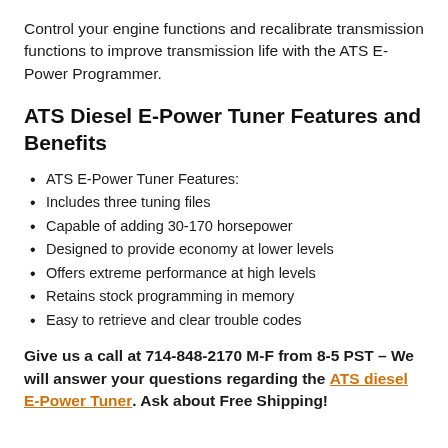Control your engine functions and recalibrate transmission functions to improve transmission life with the ATS E-Power Programmer.
ATS Diesel E-Power Tuner Features and Benefits
ATS E-Power Tuner Features:
Includes three tuning files
Capable of adding 30-170 horsepower
Designed to provide economy at lower levels
Offers extreme performance at high levels
Retains stock programming in memory
Easy to retrieve and clear trouble codes
Give us a call at 714-848-2170 M-F from 8-5 PST – We will answer your questions regarding the ATS diesel E-Power Tuner. Ask about Free Shipping!